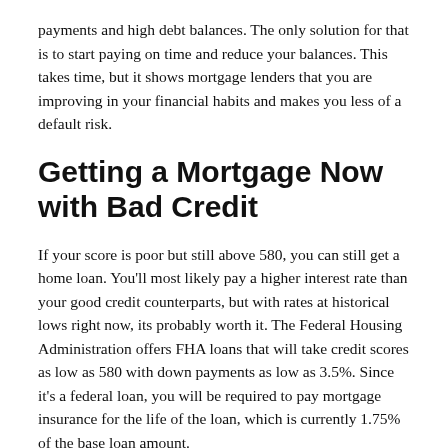payments and high debt balances. The only solution for that is to start paying on time and reduce your balances. This takes time, but it shows mortgage lenders that you are improving in your financial habits and makes you less of a default risk.
Getting a Mortgage Now with Bad Credit
If your score is poor but still above 580, you can still get a home loan. You'll most likely pay a higher interest rate than your good credit counterparts, but with rates at historical lows right now, its probably worth it. The Federal Housing Administration offers FHA loans that will take credit scores as low as 580 with down payments as low as 3.5%. Since it's a federal loan, you will be required to pay mortgage insurance for the life of the loan, which is currently 1.75% of the base loan amount.
If your score is below 580, your options for getting a mortgage are very limited. If you are a veteran, you could apply for a VA loan. While they do not require a credit